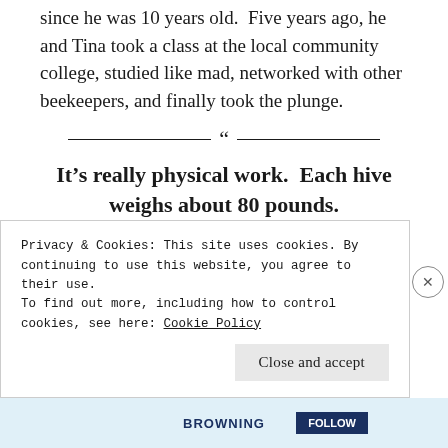since he was 10 years old. Five years ago, he and Tina took a class at the local community college, studied like mad, networked with other beekeepers, and finally took the plunge.
“It’s really physical work. Each hive weighs about 80 pounds.
Tina talked her husband, Doug, into helping with some of the heavy lifting. Perhaps that was the easy
Privacy & Cookies: This site uses cookies. By continuing to use this website, you agree to their use.
To find out more, including how to control cookies, see here: Cookie Policy
Close and accept